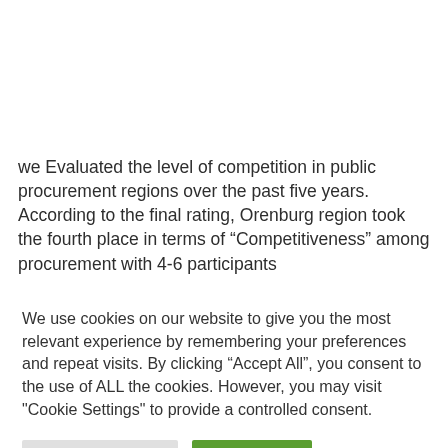we Evaluated the level of competition in public procurement regions over the past five years. According to the final rating, Orenburg region took the fourth place in terms of “Competitiveness” among procurement with 4-6 participants
We use cookies on our website to give you the most relevant experience by remembering your preferences and repeat visits. By clicking “Accept All”, you consent to the use of ALL the cookies. However, you may visit "Cookie Settings" to provide a controlled consent.